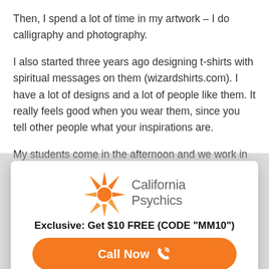Then, I spend a lot of time in my artwork – I do calligraphy and photography.
I also started three years ago designing t-shirts with spiritual messages on them (wizardshirts.com). I have a lot of designs and a lot of people like them. It really feels good when you wear them, since you tell other people what your inspirations are.
My students come in the afternoon and we work in
[Figure (logo): California Psychics logo with orange sun/star icon and gray text 'California Psychics']
Exclusive: Get $10 FREE (CODE "MM10")
Call Now